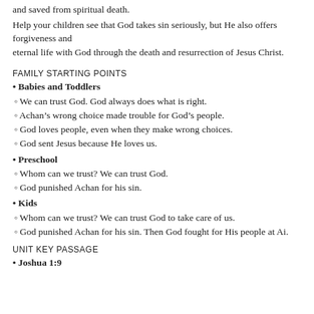and saved from spiritual death.
Help your children see that God takes sin seriously, but He also offers forgiveness and eternal life with God through the death and resurrection of Jesus Christ.
FAMILY STARTING POINTS
Babies and Toddlers
We can trust God. God always does what is right.
Achan’s wrong choice made trouble for God’s people.
God loves people, even when they make wrong choices.
God sent Jesus because He loves us.
Preschool
Whom can we trust? We can trust God.
God punished Achan for his sin.
Kids
Whom can we trust? We can trust God to take care of us.
God punished Achan for his sin. Then God fought for His people at Ai.
UNIT KEY PASSAGE
Joshua 1:9